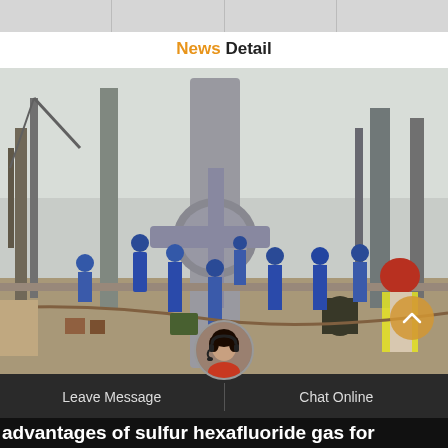News Detail
[Figure (photo): Industrial worksite photo showing multiple workers in blue hard hats and coveralls working around a large grey industrial valve or pipe fitting structure. Construction cranes and equipment visible in background.]
Leave Message
Chat Online
advantages of sulfur hexafluoride gas for